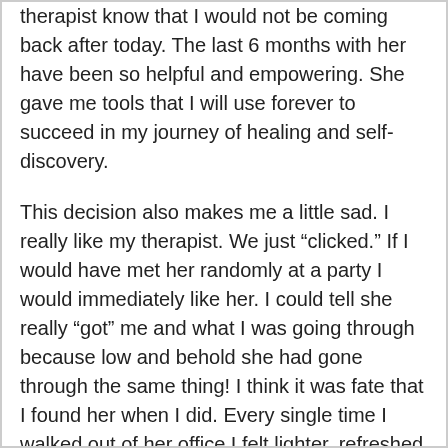therapist know that I would not be coming back after today. The last 6 months with her have been so helpful and empowering. She gave me tools that I will use forever to succeed in my journey of healing and self-discovery.
This decision also makes me a little sad. I really like my therapist. We just “clicked.” If I would have met her randomly at a party I would immediately like her. I could tell she really “got” me and what I was going through because low and behold she had gone through the same thing! I think it was fate that I found her when I did. Every single time I walked out of her office I felt lighter, refreshed and ready to take on what life was ready to throw my way.
I’ve been to therapy many times in my life, but never for very long. After a few sessions, I felt I got what I needed or didn’t get anything at all so I would stop going. The last time I was in therapy was with my now ex-husband. He was in the midst of his affair, but forgot to mention said affair while we